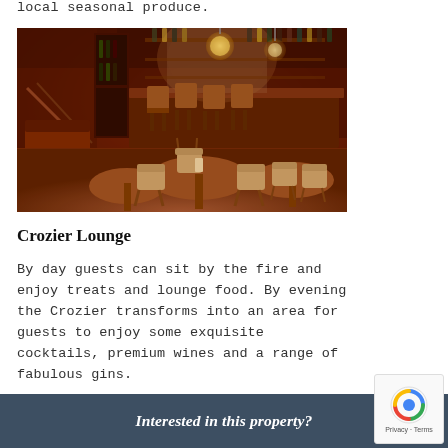local seasonal produce.
[Figure (photo): Interior photo of the Crozier Lounge showing a warm, elegant bar area with rich mahogany wood paneling, a grand piano on the left, wicker and wood chairs around dining tables, ornate spherical pendant lights, and a well-stocked bar in the background.]
Crozier Lounge
By day guests can sit by the fire and enjoy treats and lounge food. By evening the Crozier transforms into an area for guests to enjoy some exquisite cocktails, premium wines and a range of fabulous gins.
Interested in this property?